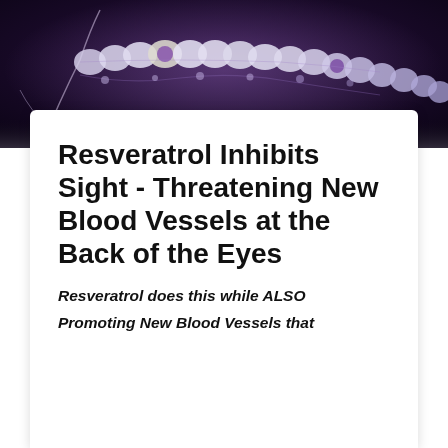[Figure (photo): Dark purple/navy background banner image showing what appears to be a DNA helix or molecular structure with purple and white bead-like nodes against a dark background.]
Resveratrol Inhibits Sight - Threatening New Blood Vessels at the Back of the Eyes
Resveratrol does this while ALSO
Promoting New Blood Vessels that